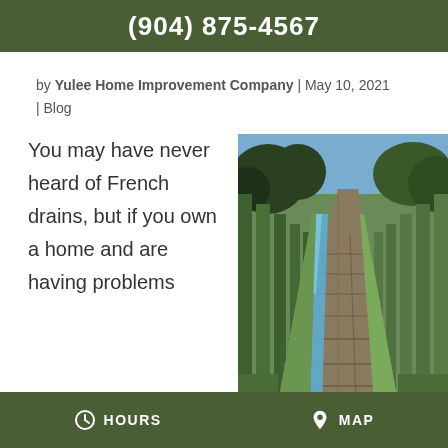(904) 875-4567
by Yulee Home Improvement Company | May 10, 2021 | Blog
You may have never heard of French drains, but if you own a home and are having problems
[Figure (photo): Aerial view of a vineyard or terraced drainage channel with stone pathway and blue water running alongside green hedgerows]
HOURS  MAP